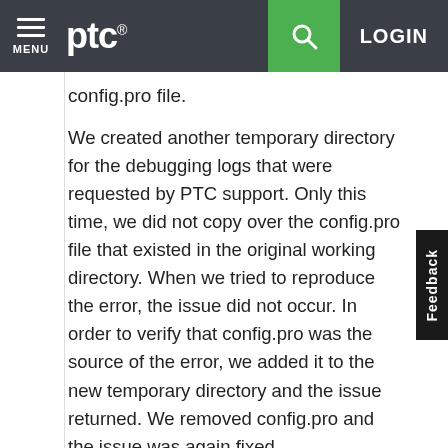MENU | ptc® | [search] | LOGIN
config.pro file.
We created another temporary directory for the debugging logs that were requested by PTC support. Only this time, we did not copy over the config.pro file that existed in the original working directory. When we tried to reproduce the error, the issue did not occur. In order to verify that config.pro was the source of the error, we added it to the new temporary directory and the issue returned. We removed config.pro and the issue was again fixed.
When we create new users and install Creo on new devices, we typically copy an existing